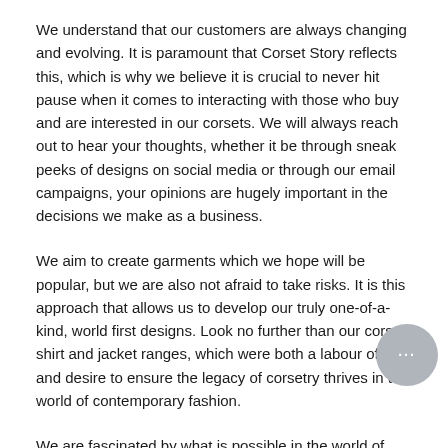We understand that our customers are always changing and evolving. It is paramount that Corset Story reflects this, which is why we believe it is crucial to never hit pause when it comes to interacting with those who buy and are interested in our corsets. We will always reach out to hear your thoughts, whether it be through sneak peeks of designs on social media or through our email campaigns, your opinions are hugely important in the decisions we make as a business.
We aim to create garments which we hope will be popular, but we are also not afraid to take risks. It is this approach that allows us to develop our truly one-of-a-kind, world first designs. Look no further than our corset shirt and jacket ranges, which were both a labour of love and desire to ensure the legacy of corsetry thrives in the world of contemporary fashion.
We are fascinated by what is possible in the world of corsetry. This is what makes us one of the leading design-led brands – we design our corsets with no limitations in place, and only then do we assess how our production lines would actually bring these designs to life.
Corsetry without limits is our ethos, and we just can't wait to share all of